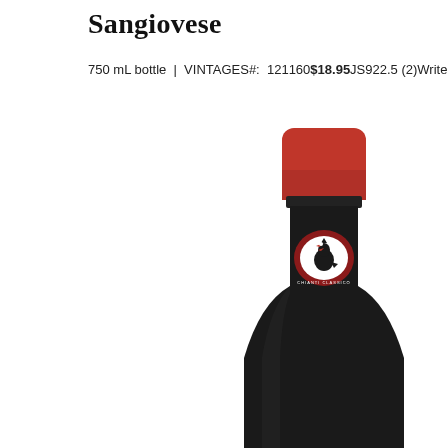Sangiovese
750 mL bottle  |  VINTAGES#:  121160$18.95JS922.5 (2)Write a Rev
[Figure (photo): A wine bottle with a red foil cap and a Chianti Classico rooster emblem label on the neck, against a white background. The bottle is dark/black glass and partially cropped at the bottom.]